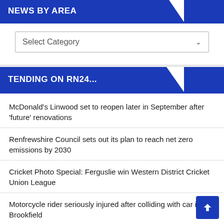NEWS BY AREA
Select Category
TENDING ON RN24...
McDonald's Linwood set to reopen later in September after 'future' renovations
Renfrewshire Council sets out its plan to reach net zero emissions by 2030
Cricket Photo Special: Ferguslie win Western District Cricket Union League
Motorcycle rider seriously injured after colliding with car in Brookfield